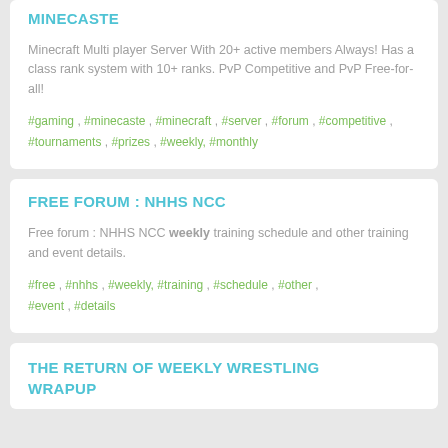MINECASTE
Minecraft Multi player Server With 20+ active members Always! Has a class rank system with 10+ ranks. PvP Competitive and PvP Free-for-all!
#gaming , #minecaste , #minecraft , #server , #forum , #competitive , #tournaments , #prizes , #weekly, #monthly
FREE FORUM : NHHS NCC
Free forum : NHHS NCC weekly training schedule and other training and event details.
#free , #nhhs , #weekly, #training , #schedule , #other , #event , #details
THE RETURN OF WEEKLY WRESTLING WRAPUP